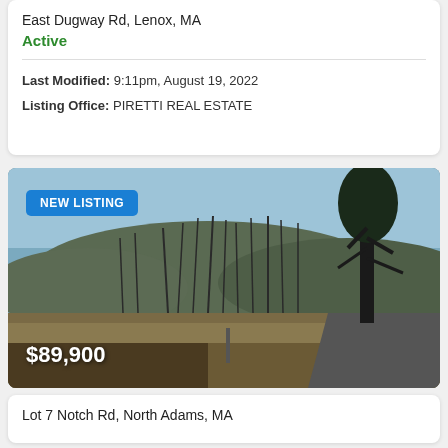East Dugway Rd, Lenox, MA
Active
Last Modified: 9:11pm, August 19, 2022
Listing Office: PIRETTI REAL ESTATE
[Figure (photo): Outdoor landscape photo showing a rural wooded lot with bare trees, hills in background, gravel road on the right side, dry grass and shrubs in foreground. Blue sky visible. 'NEW LISTING' badge in upper left. '$89,900' price overlay in lower left.]
Lot 7 Notch Rd, North Adams, MA